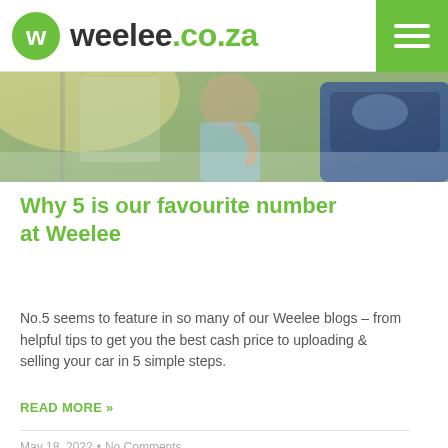weelee.co.za
[Figure (photo): Partial photo showing a person in a car, likely holding something, with a blue car in the background. Warm sunlight visible.]
Why 5 is our favourite number at Weelee
No.5 seems to feature in so many of our Weelee blogs – from helpful tips to get you the best cash price to uploading & selling your car in 5 simple steps.
READ MORE »
May 18, 2022  •  No Comments